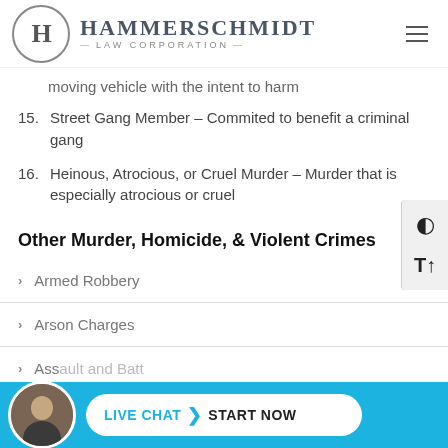Hammerschmidt Law Corporation
moving vehicle with the intent to harm
15. Street Gang Member – Commited to benefit a criminal gang
16. Heinous, Atrocious, or Cruel Murder – Murder that is especially atrocious or cruel
Other Murder, Homicide, & Violent Crimes
Armed Robbery
Arson Charges
Assault and Battery